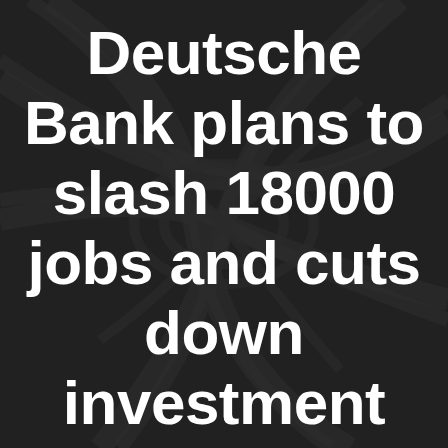[Figure (photo): Dark overhead aerial photograph of a highway interchange/road network, used as background image behind headline text.]
Deutsche Bank plans to slash 18000 jobs and cuts down investment banking